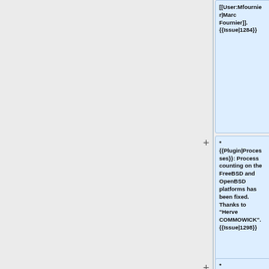[[User:Mfournier|Marc Fournier]]. {{Issue|1284}}
* {{Plugin|Processes}}: Process counting on the FreeBSD and OpenBSD platforms has been fixed. Thanks to "Herve COMMOWICK". {{Issue|1298}}
* {{Plugin|Processes}}: The plugin was fixed to work